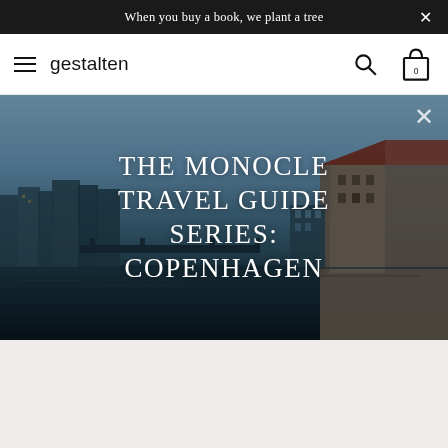When you buy a book, we plant a tree
[Figure (screenshot): Gestalten website navigation bar with hamburger menu, gestalten logo, search icon, and shopping bag icon showing 0 items]
[Figure (photo): Copenhagen waterfront cityscape photograph used as hero banner background, showing harbor, buildings, and sky]
THE MONOCLE TRAVEL GUIDE SERIES: COPENHAGEN